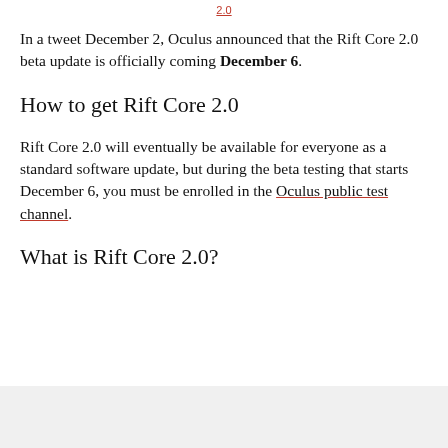2.0
In a tweet December 2, Oculus announced that the Rift Core 2.0 beta update is officially coming December 6.
How to get Rift Core 2.0
Rift Core 2.0 will eventually be available for everyone as a standard software update, but during the beta testing that starts December 6, you must be enrolled in the Oculus public test channel.
What is Rift Core 2.0?